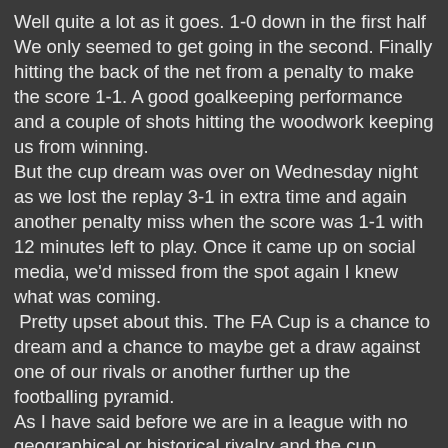Well quite a lot as it goes. 1-0 down in the first half We only seemed to get going in the second. Finally hitting the back of the net from a penalty to make the score 1-1. A good goalkeeping performance and a couple of shots hitting the woodwork keeping us from winning. But the cup dream was over on Wednesday night as we lost the replay 3-1 in extra time and again another penalty miss when the score was 1-1 with 12 minutes left to play. Once it came up on social media, we'd missed from the spot again I knew what was coming. Pretty upset about this. The FA Cup is a chance to dream and a chance to maybe get a draw against one of our rivals or another further up the footballing pyramid. As I have said before we are in a league with no geographical or historical rivalry and the cup competitions are the only way to meet up with old friends and foes. To go out of the FA Cup so early now two seasons in a row to clubs we should really beat is a bit of a pisser. The Fisher game still gives me sleepless nights. Well beaten on the day by a team we should have done a lot better against. Fisher seemed well up for their game a bought a loud vocal following and well deserved their victory. I'm sorry. Either...